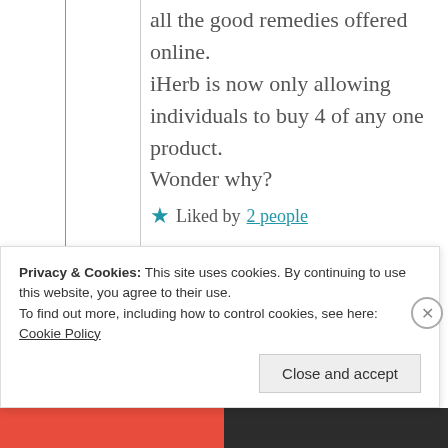all the good remedies offered online.

iHerb is now only allowing individuals to buy 4 of any one product.

Wonder why?
★ Liked by 2 people
↳ Reply
Privacy & Cookies: This site uses cookies. By continuing to use this website, you agree to their use.
To find out more, including how to control cookies, see here: Cookie Policy
Close and accept